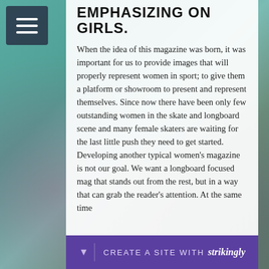EMPHASIZING ON GIRLS.
When the idea of this magazine was born, it was important for us to provide images that will properly represent women in sport; to give them a platform or showroom to present and represent themselves. Since now there have been only few outstanding women in the skate and longboard scene and many female skaters are waiting for the last little push they need to get started. Developing another typical women’s magazine is not our goal. We want a longboard focused mag that stands out from the rest, but in a way that can grab the reader’s attention. At the same time
CREATE A SITE WITH strikingly